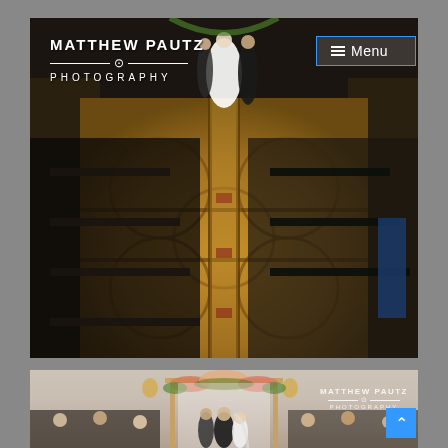[Figure (photo): Wedding ceremony photo showing bride and groom at the altar of an ornate ballroom with patterned golden carpet, guests seated on either side. Overlaid with Matthew Pautz Photography logo and Menu button.]
[Figure (photo): Second wedding ceremony photo showing couple under a floral chuppah arch with guests watching, interior venue setting.]